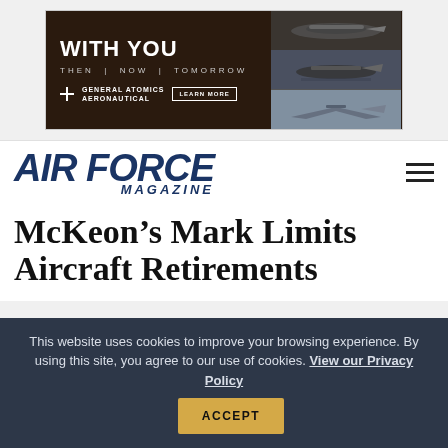[Figure (illustration): General Atomics Aeronautical advertisement banner. Left side: dark brown background with white text 'WITH YOU THEN | NOW | TOMORROW', General Atomics Aeronautical logo and 'LEARN MORE' button. Right side: three stacked images of military drones/aircraft.]
[Figure (logo): Air Force Magazine logo in bold dark blue italic font with hamburger menu icon on the right.]
McKeon’s Mark Limits Aircraft Retirements
This website uses cookies to improve your browsing experience. By using this site, you agree to our use of cookies. View our Privacy Policy
ACCEPT